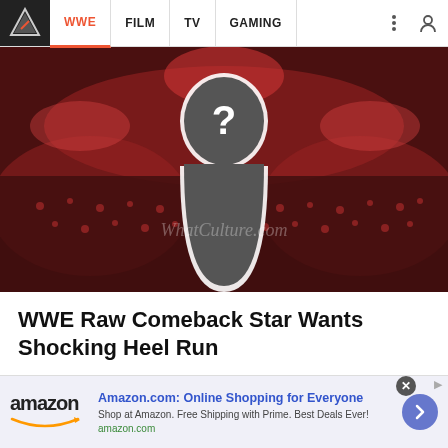WWE | FILM | TV | GAMING
[Figure (photo): WWE arena with red lighting, silhouette of a person with a question mark on their face, WhatCulture.com watermark]
WWE Raw Comeback Star Wants Shocking Heel Run
[Figure (infographic): Amazon advertisement banner: Amazon.com: Online Shopping for Everyone. Shop at Amazon. Free Shipping with Prime. Best Deals Ever! amazon.com]